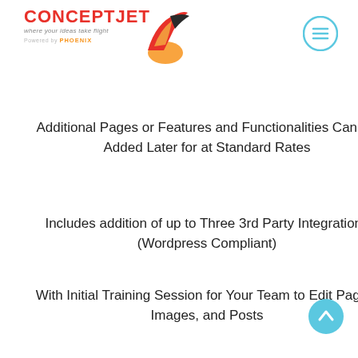[Figure (logo): ConceptJet logo with tagline 'where your ideas take flight', powered by Phoenix, with flame/bird graphic and orange/red colors]
Additional Pages or Features and Functionalities Can Be Added Later for at Standard Rates
Includes addition of up to Three 3rd Party Integrations (Wordpress Compliant)
With Initial Training Session for Your Team to Edit Pages, Images, and Posts
Built-In Wordpress